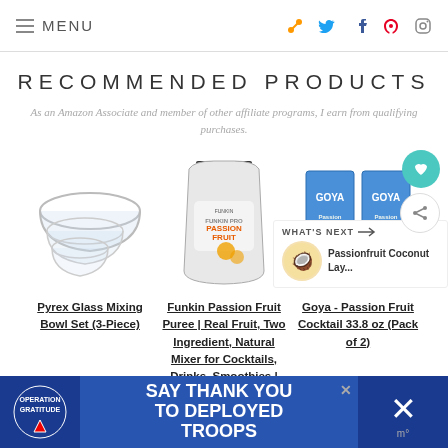MENU
RECOMMENDED PRODUCTS
As an Amazon Associate and member of other affiliate programs, I earn from qualifying purchases.
[Figure (photo): Pyrex glass mixing bowl set, three stacked clear glass bowls]
[Figure (photo): Funkin Passion Fruit Puree pouch product]
[Figure (photo): Two Goya Passion Fruit Cocktail 33.8 oz cartons]
Pyrex Glass Mixing Bowl Set (3-Piece)
Funkin Passion Fruit Puree | Real Fruit, Two Ingredient, Natural Mixer for Cocktails, Drinks, Smoothies |
Goya - Passion Fruit Cocktail 33.8 oz (Pack of 2)
WHAT'S NEXT → Passionfruit Coconut Lay...
[Figure (photo): Advertisement banner: Operation Gratitude - Say Thank You to Deployed Troops]